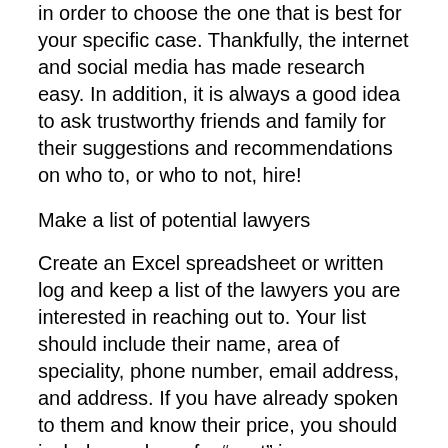in order to choose the one that is best for your specific case. Thankfully, the internet and social media has made research easy. In addition, it is always a good idea to ask trustworthy friends and family for their suggestions and recommendations on who to, or who to not, hire!
Make a list of potential lawyers
Create an Excel spreadsheet or written log and keep a list of the lawyers you are interested in reaching out to. Your list should include their name, area of speciality, phone number, email address, and address. If you have already spoken to them and know their price, you should include a column for “cost” in your document as well
Determine if your attorney is qualified to handle your case
Just because someone is a lawyer does not mean he/she is qualified to take on your case. Check your State Bar website to see if any of the lawyers on your list have a history of malpractice or have been subject to any